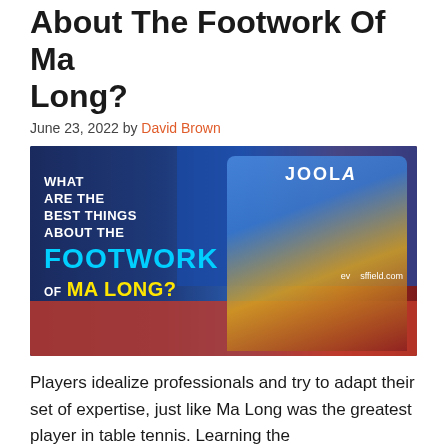About The Footwork Of Ma Long?
June 23, 2022 by David Brown
[Figure (photo): Promotional image showing Ma Long in a wide lunge playing table tennis, with text overlay reading: WHAT ARE THE BEST THINGS ABOUT THE FOOTWORK OF MA LONG? JOOLA branding visible in background.]
Players idealize professionals and try to adapt their set of expertise, just like Ma Long was the greatest player in table tennis. Learning the